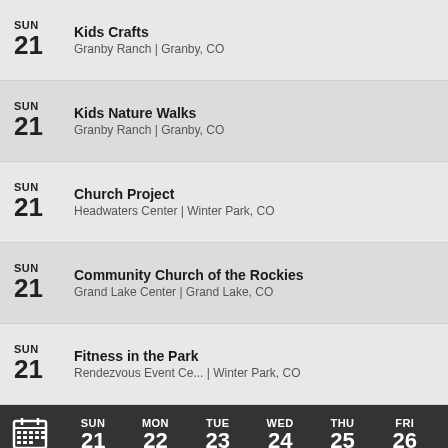SUN 21 — Kids Crafts — Granby Ranch | Granby, CO
SUN 21 — Kids Nature Walks — Granby Ranch | Granby, CO
SUN 21 — Church Project — Headwaters Center | Winter Park, CO
SUN 21 — Community Church of the Rockies — Grand Lake Center | Grand Lake, CO
SUN 21 — Fitness in the Park — Rendezvous Event Ce... | Winter Park, CO
[Figure (screenshot): Calendar navigation bar showing days: SUN 21, MON 22, TUE 23, WED 24, THU 25, FRI 26]
See all events  + Add your event
[Figure (infographic): Seamless food delivery advertisement with pizza image, seamless logo and ORDER NOW button]
Home  Trending  Sections